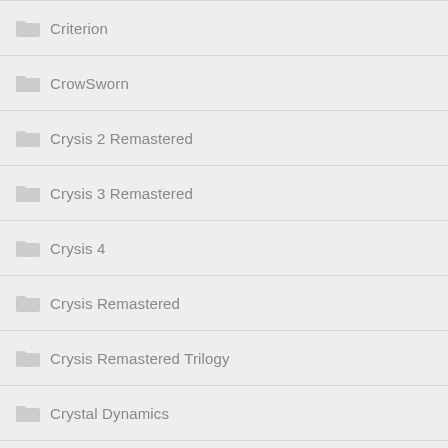Criterion
CrowSworn
Crysis 2 Remastered
Crysis 3 Remastered
Crysis 4
Crysis Remastered
Crysis Remastered Trilogy
Crystal Dynamics
CRYSTAR – –
Crytek